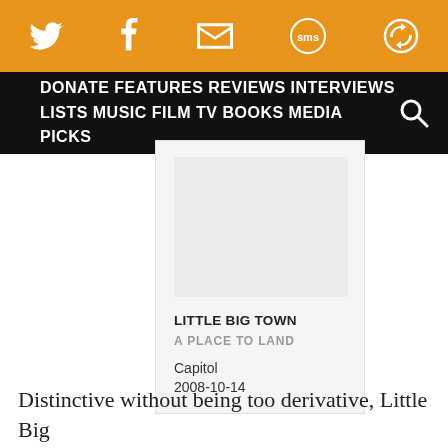Social share bar with Twitter, Facebook, Email, SMS, and another icon
DONATE FEATURES REVIEWS INTERVIEWS LISTS MUSIC FILM TV BOOKS MEDIA PICKS [search]
[Figure (infographic): Album card for Little Big Town - A Place to Land, Capitol, 2008-10-14 with placeholder image]
LITTLE BIG TOWN
A PLACE TO LAND
Capitol
2008-10-14
Distinctive without being too derivative, Little Big